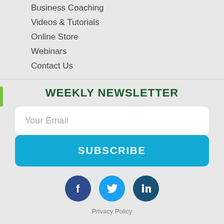Business Coaching
Videos & Tutorials
Online Store
Webinars
Contact Us
WEEKLY NEWSLETTER
Your Email
SUBSCRIBE
[Figure (infographic): Social media icons: Facebook (dark blue circle), Twitter (light blue circle), LinkedIn (dark teal circle)]
Privacy Policy